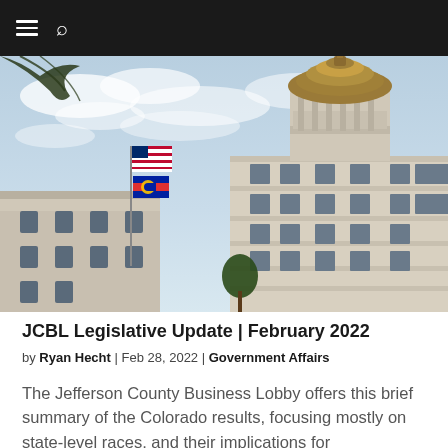≡ 🔍
[Figure (photo): Upward-angle photograph of the Colorado State Capitol building dome with American flag and Colorado state flag flying on a flagpole, blue sky with light clouds in background]
JCBL Legislative Update | February 2022
by Ryan Hecht | Feb 28, 2022 | Government Affairs
The Jefferson County Business Lobby offers this brief summary of the Colorado results, focusing mostly on state-level races, and their implications for